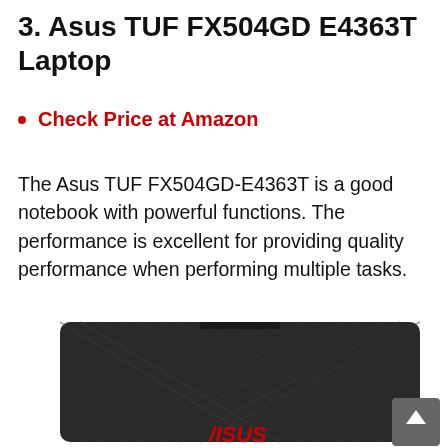3. Asus TUF FX504GD E4363T Laptop
Check Price at Amazon
The Asus TUF FX504GD-E4363T is a good notebook with powerful functions. The performance is excellent for providing quality performance when performing multiple tasks.
[Figure (photo): Photo of the Asus TUF FX504GD laptop showing its back lid with geometric design lines and red ASUS logo at the bottom]